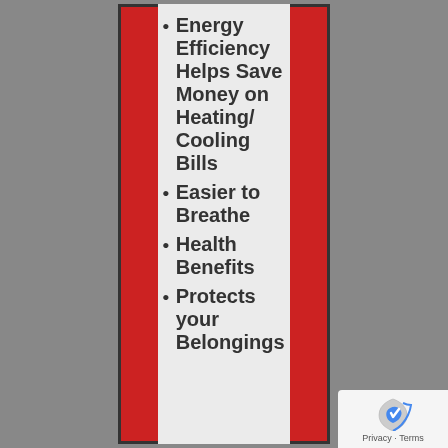Energy Efficiency Helps Save Money on Heating/Cooling Bills
Easier to Breathe
Health Benefits
Protects your Belongings